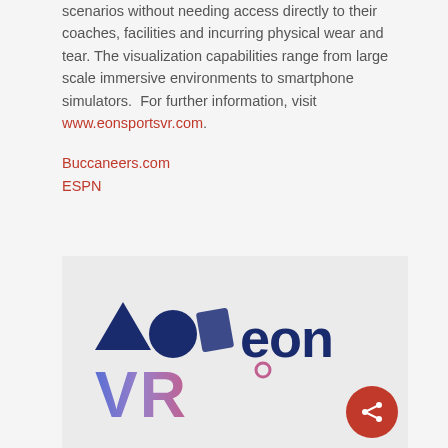scenarios without needing access directly to their coaches, facilities and incurring physical wear and tear. The visualization capabilities range from large scale immersive environments to smartphone simulators.  For further information, visit www.eonsportsvr.com.
Buccaneers.com
ESPN
[Figure (logo): EON VR logo — dark blue geometric shapes (triangle, circle, rectangle) beside the word 'eon' in dark blue, and below a large 'VR' in gradient blue-to-purple lettering, on a light grey background. A red circular share button is overlaid at the bottom right.]